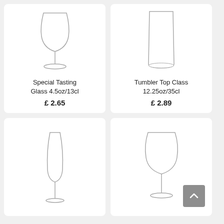[Figure (illustration): Special Tasting Glass 4.5oz/13cl — stemmed snifter-style glass illustration]
Special Tasting Glass 4.5oz/13cl
£2.65
[Figure (illustration): Tumbler Top Class 12.25oz/35cl — tall cylindrical tumbler glass illustration]
Tumbler Top Class 12.25oz/35cl
£2.89
[Figure (illustration): Champagne flute glass illustration]
[Figure (illustration): Wine glass illustration]